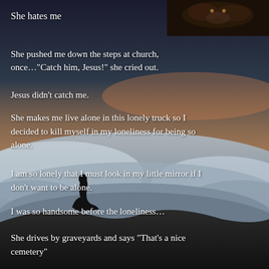She hates me
[Figure (photo): Dark photo of an animal or face in the upper right corner]
She pushed me down the steps at church, once…"Catch him, Jesus!" she cried out.
Jesus didn't catch me.
She makes me live alone in this lonely truck so I decided to kill myself in my loneliness for being so alone.
I am so lonely that I must look in my little mirror if I don't want to be alone.
I was so handsome before the loneliness…
She drives by graveyards and says “That’s a nice cemetery”
[Figure (photo): Background photo of a silhouetted person sitting on a rock overlooking a sea of clouds at sunset]